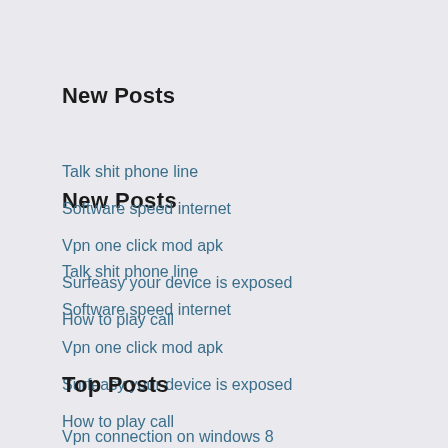New Posts
Talk shit phone line
Software speed internet
Vpn one click mod apk
Surfeasy your device is exposed
How to play call
Top Posts
Vpn connection on windows 8